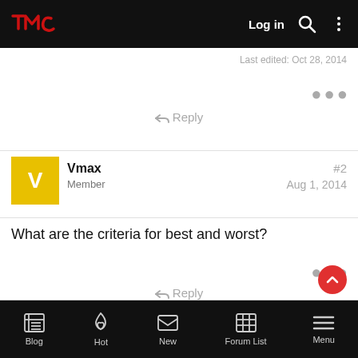TMC — Log in
Last edited: Oct 28, 2014
● ● ●
↩ Reply
Vmax
Member
#2
Aug 1, 2014
What are the criteria for best and worst?
● ● ●
↩ Reply
Blog  Hot  New  Forum List  Menu